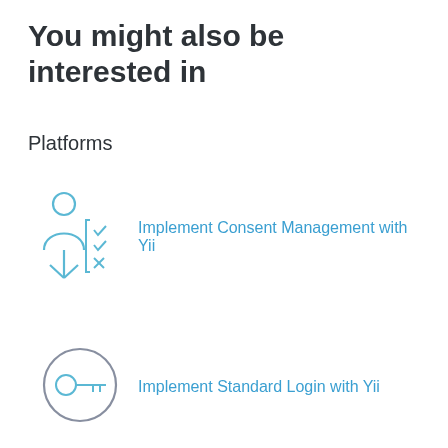You might also be interested in
Platforms
[Figure (illustration): Icon of a person silhouette next to a checklist with checkmarks and an x, drawn in light blue line art style]
Implement Consent Management with Yii
[Figure (illustration): Icon of a key inside a circle, drawn in grey/blue line art style]
Implement Standard Login with Yii